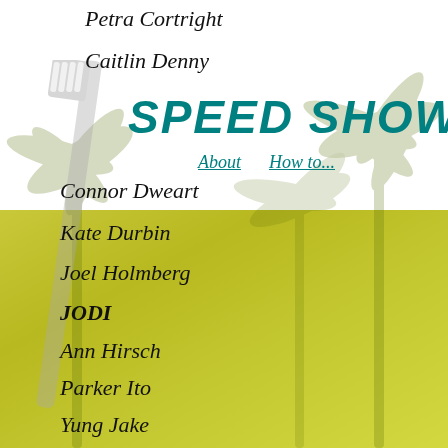Petra Cortright
Caitlin Denny
SPEED SHOW
About   How to...
Connor Dweart
Kate Durbin
Joel Holmberg
JODI
Ann Hirsch
Parker Ito
Yung Jake
KATSU
Guthrie Lonergan
Sara Ludy
Jonas Lund
Michael Manning
Signe Dierne